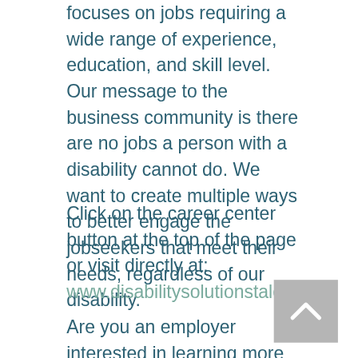focuses on jobs requiring a wide range of experience, education, and skill level. Our message to the business community is there are no jobs a person with a disability cannot do. We want to create multiple ways to better engage the jobseekers that meet their needs, regardless of our disability.
Click on the career center button at the top of the page or visit directly at: www.disabilitysolutionstalent.org.
Are you an employer interested in learning more about the Disability Solutions Career Center or our full suite of solutions to help you hire and retain talented job seekers with disabilities?